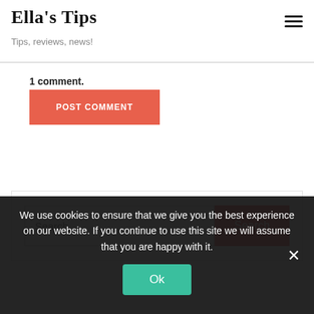Ella's Tips — Tips, reviews, news!
1 comment.
POST COMMENT
Search ...
We use cookies to ensure that we give you the best experience on our website. If you continue to use this site we will assume that you are happy with it.
Ok